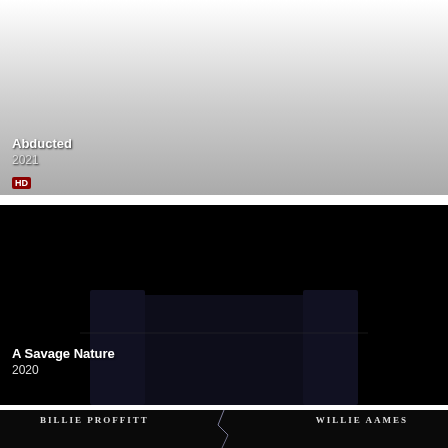[Figure (photo): Movie card for 'Abducted' (2021) with gray gradient background and HD badge]
[Figure (photo): Movie card for 'A Savage Nature' (2020) showing large white serif title text on black background with dark room/curtain imagery]
[Figure (photo): Partial movie card showing actor names 'BILLIE PROFFITT' and 'WILLIE AAMES' on dark background with lightning effect]